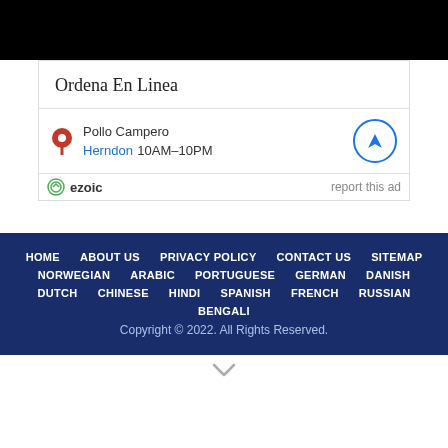[Figure (other): Black banner/header bar at top of page]
Ordena En Linea
Pollo Campero
Herndon 10AM–10PM
ezoic   report this ad
HOME   ABOUT US   PRIVACY POLICY   CONTACT US   SITEMAP
NORWEGIAN   ARABIC   PORTUGUESE   GERMAN   DANISH
DUTCH   CHINESE   HINDI   SPANISH   FRENCH   RUSSIAN
BENGALI
Copyright © 2022. All Rights Reserved.